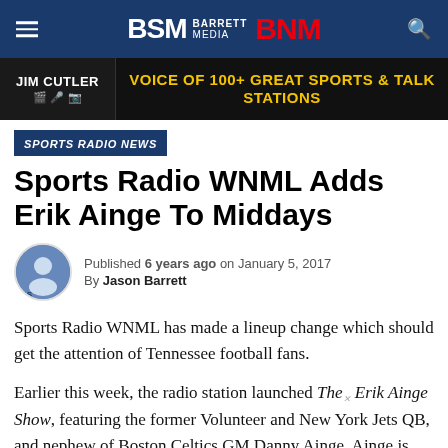BSM Barrett Media BNM
[Figure (infographic): Advertisement banner: Jim Cutler – Voice of 100+ Great Sports & Talk Stations]
SPORTS RADIO NEWS
Sports Radio WNML Adds Erik Ainge To Middays
Published 6 years ago on January 5, 2017
By Jason Barrett
Sports Radio WNML has made a lineup change which should get the attention of Tennessee football fans.
Earlier this week, the radio station launched The Erik Ainge Show, featuring the former Volunteer and New York Jets QB, and nephew of Boston Celtics GM Danny Ainge. Ainge is joined each day from 9a-12p...